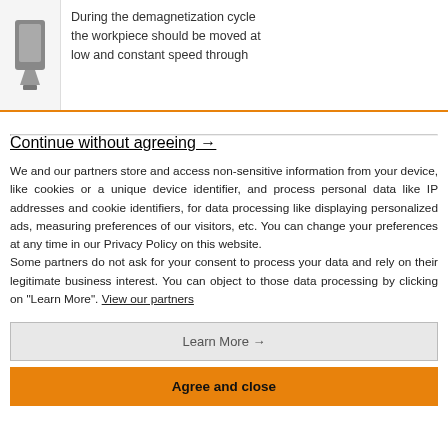[Figure (photo): Partial view of a device/workpiece at top left, with text describing demagnetization cycle to the right]
During the demagnetization cycle the workpiece should be moved at low and constant speed through
Continue without agreeing →
We and our partners store and access non-sensitive information from your device, like cookies or a unique device identifier, and process personal data like IP addresses and cookie identifiers, for data processing like displaying personalized ads, measuring preferences of our visitors, etc. You can change your preferences at any time in our Privacy Policy on this website.
Some partners do not ask for your consent to process your data and rely on their legitimate business interest. You can object to those data processing by clicking on "Learn More". View our partners
Learn More →
Agree and close